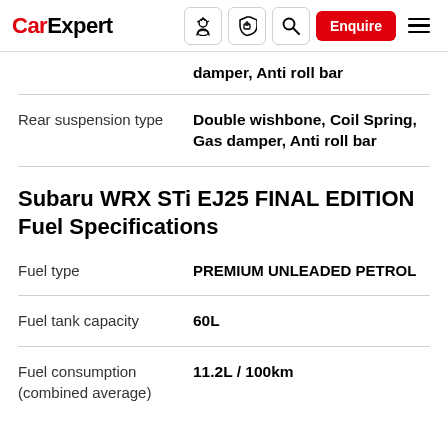CarExpert — navigation bar with logo, icons, Enquire button, menu
damper, Anti roll bar
| Specification | Value |
| --- | --- |
| Rear suspension type | Double wishbone, Coil Spring, Gas damper, Anti roll bar |
Subaru WRX STi EJ25 FINAL EDITION Fuel Specifications
| Specification | Value |
| --- | --- |
| Fuel type | PREMIUM UNLEADED PETROL |
| Fuel tank capacity | 60L |
| Fuel consumption (combined average) | 11.2L / 100km |